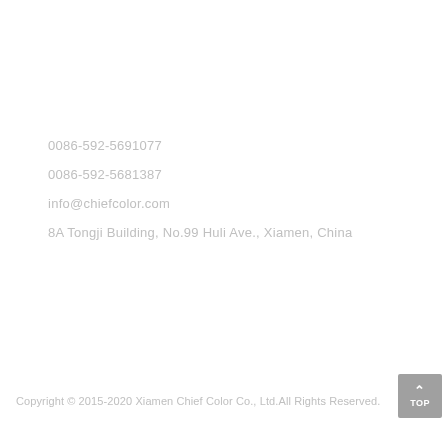0086-592-5691077
0086-592-5681387
info@chiefcolor.com
8A Tongji Building, No.99 Huli Ave., Xiamen, China
Copyright © 2015-2020 Xiamen Chief Color Co., Ltd.All Rights Reserved.